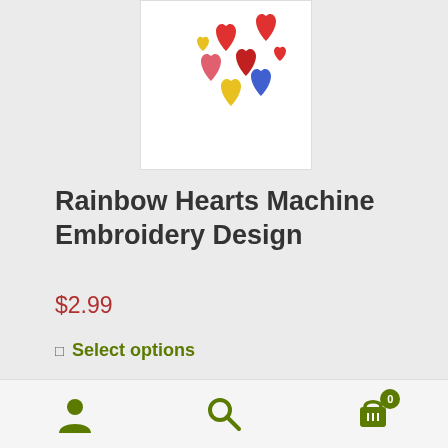[Figure (illustration): Rainbow hearts embroidery design — colorful heart shapes in red, pink, yellow, blue, and dark red arranged in a cluster pattern on white background]
Rainbow Hearts Machine Embroidery Design
$2.99
Select options
[Figure (photo): Second product image card, partially visible at bottom]
User icon | Search icon | Cart icon with badge showing 0